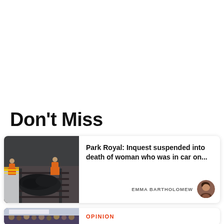Don't Miss
[Figure (photo): Wreckage of a burnt-out car on railway tracks with workers in orange high-visibility jackets attending to the scene]
Park Royal: Inquest suspended into death of woman who was in car on...
EMMA BARTHOLOMEW
[Figure (photo): Crowd scene, partially visible at bottom of page]
OPINION